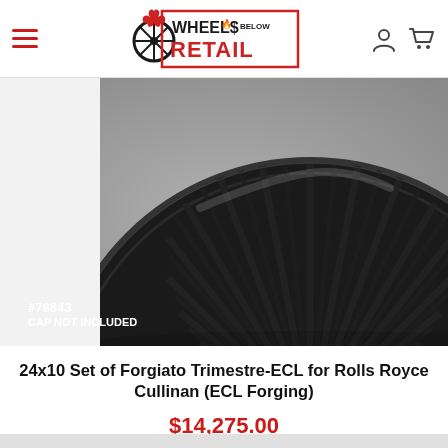[Figure (logo): Wheels Below Retail logo with flame and wheel icon, red and black color scheme]
[Figure (photo): Black Forgiato Trimestre-ECL wheel (24x10) for Rolls Royce Cullinan, close-up showing multi-spoke design on dark background. SKU #78843, CAP NOT INCLUDED label visible.]
24x10 Set of Forgiato Trimestre-ECL for Rolls Royce Cullinan (ECL Forging)
$14,275.00